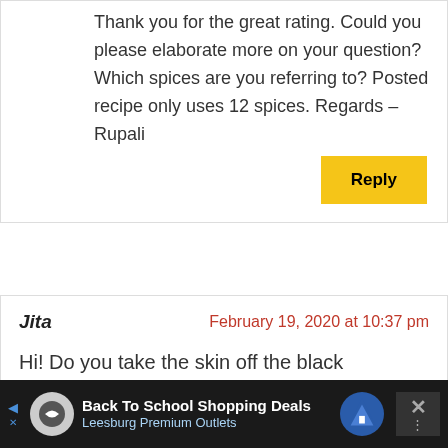Thank you for the great rating. Could you please elaborate more on your question? Which spices are you referring to? Posted recipe only uses 12 spices. Regards – Rupali
Reply
Jita
February 19, 2020 at 10:37 pm
Hi! Do you take the skin off the black
Back To School Shopping Deals
Leesburg Premium Outlets